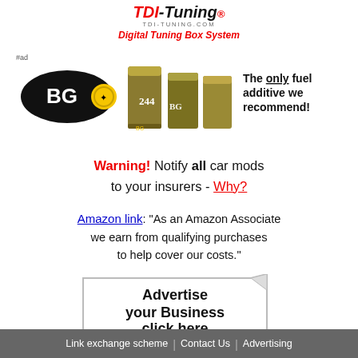[Figure (logo): TDI-Tuning logo with red italic TDI, black italic Tuning text, url tdi-tuning.com, and red italic subtitle 'Digital Tuning Box System']
[Figure (photo): BG 244 fuel additive product advertisement showing BG logo, cans of 244 product, and text 'The only fuel additive we recommend!' with #ad marker]
Warning! Notify all car mods to your insurers - Why?
Amazon link: "As an Amazon Associate we earn from qualifying purchases to help cover our costs."
[Figure (illustration): Advertise your Business click here — banner with folded corner effect]
Link exchange scheme | Contact Us | Advertising